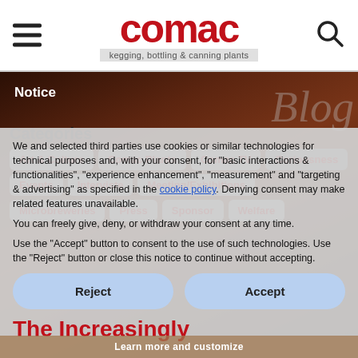comac — kegging, bottling & canning plants
[Figure (screenshot): Comac website header with hamburger menu, red Comac logo, tagline 'kegging, bottling & canning plants', and search icon]
Notice
Blog
Categories
Art & Culture
Comac Plants
Comac TV
Curiousness
Events
Interviste
Meeting/Exhibitions
Microbreweries
Press
Sponsor
Welfare
We and selected third parties use cookies or similar technologies for technical purposes and, with your consent, for "basic interactions & functionalities", "experience enhancement", "measurement" and "targeting & advertising" as specified in the cookie policy. Denying consent may make related features unavailable.
You can freely give, deny, or withdraw your consent at any time.
Use the "Accept" button to consent to the use of such technologies. Use the "Reject" button or close this notice to continue without accepting.
Reject
Accept
The Increasingly
Learn more and customize